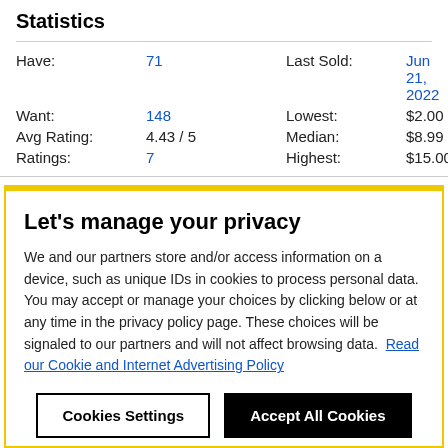Statistics
| Have: | 71 | Last Sold: | Jun 21, 2022 |
| Want: | 148 | Lowest: | $2.00 |
| Avg Rating: | 4.43 / 5 | Median: | $8.99 |
| Ratings: | 7 | Highest: | $15.00 |
Tracklist
Hide Credits
Let's manage your privacy
We and our partners store and/or access information on a device, such as unique IDs in cookies to process personal data. You may accept or manage your choices by clicking below or at any time in the privacy policy page. These choices will be signaled to our partners and will not affect browsing data.  Read our Cookie and Internet Advertising Policy
Cookies Settings
Accept All Cookies